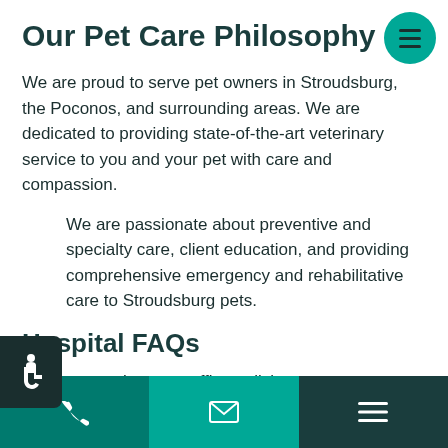Our Pet Care Philosophy
We are proud to serve pet owners in Stroudsburg, the Poconos, and surrounding areas. We are dedicated to providing state-of-the-art veterinary service to you and your pet with care and compassion.
We are passionate about preventive and specialty care, client education, and providing comprehensive emergency and rehabilitative care to Stroudsburg pets.
Hospital FAQs
Learn more about our office policies, payment options, and appointment booking by reading through our hospital FAQs.